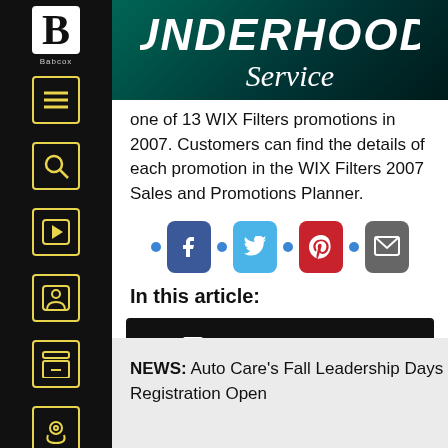[Figure (logo): Underhood Service logo with Babcock B logo on dark teal/black header bar]
one of 13 WIX Filters promotions in 2007. Customers can find the details of each promotion in the WIX Filters 2007 Sales and Promotions Planner.
[Figure (infographic): Social share buttons row: Facebook, Twitter, Pinterest, Email with blue dots between them]
In this article:
[Figure (screenshot): Black button bar with comment icon and text CLICK TO COMMENT]
NEWS: Auto Care's Fall Leadership Days Registration Open